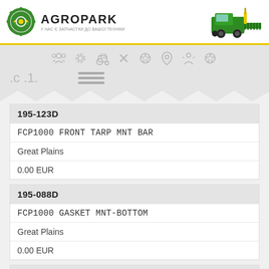[Figure (logo): Agropark logo with gear and agricultural icon, green and yellow colors, with text AGROPARK and Ukrainian subtitle. Header also includes image of green combine harvester on right.]
[Figure (infographic): Navigation icon bar with 8 gray icons: globe/people, settings/gear, tractor, tools/wrench, star medal, location pin, people group, star medal. Below icons are mountain/zigzag decorative divider shapes and hamburger menu lines.]
| Field | Value |
| --- | --- |
| Part Number | 195-123D |
| Description | FCP1000 FRONT TARP MNT BAR |
| Brand | Great Plains |
| Price | 0.00 EUR |
| Field | Value |
| --- | --- |
| Part Number | 195-088D |
| Description | FCP1000 GASKET MNT-BOTTOM |
| Brand | Great Plains |
| Price | 0.00 EUR |
| Field | Value |
| --- | --- |
| Part Number | 195-087D |
| Description | FCP1000 GASKET MNT-END-1ST |
| Brand | Great Plains |